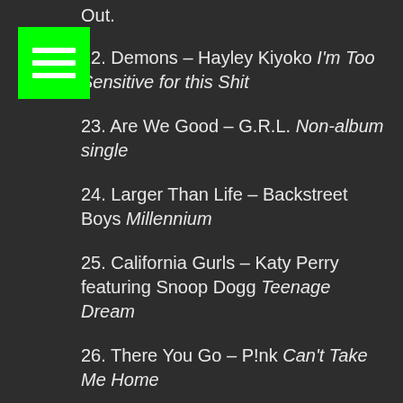Out.
22. Demons – Hayley Kiyoko I'm Too Sensitive for this Shit
23. Are We Good – G.R.L. Non-album single
24. Larger Than Life – Backstreet Boys Millennium
25. California Gurls – Katy Perry featuring Snoop Dogg Teenage Dream
26. There You Go – P!nk Can't Take Me Home
27. That's My Girl – Fifth Harmony 7/27